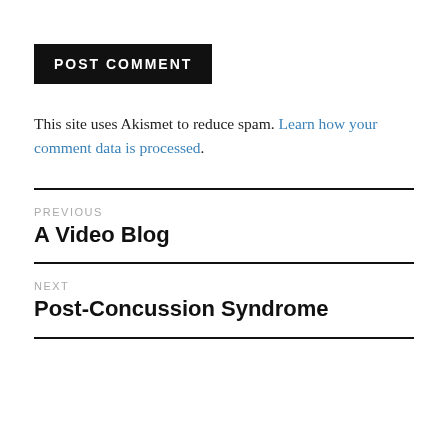POST COMMENT
This site uses Akismet to reduce spam. Learn how your comment data is processed.
PREVIOUS
A Video Blog
NEXT
Post-Concussion Syndrome